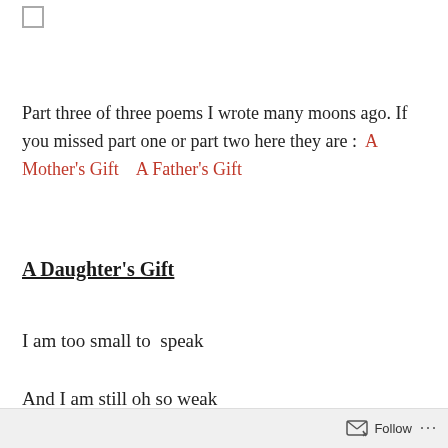Part three of three poems I wrote many moons ago. If you missed part one or part two here they are :  A Mother's Gift    A Father's Gift
A Daughter's Gift
I am too small to  speak
And I am still oh so weak
I don't understand what you are saying
Follow